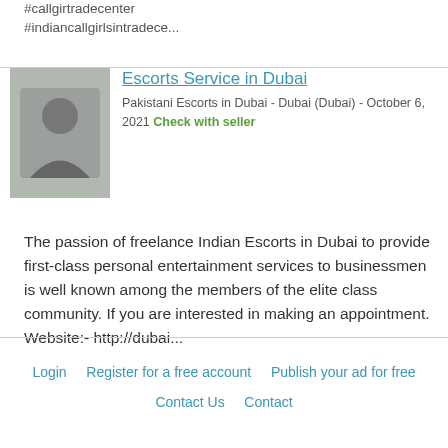#callgirtradecenter #indiancallgirlsintradece...
Escorts Service in Dubai
Pakistani Escorts in Dubai - Dubai (Dubai) - October 6, 2021 Check with seller
[Figure (photo): Thumbnail image for escort listing]
The passion of freelance Indian Escorts in Dubai to provide first-class personal entertainment services to businessmen is well known among the members of the elite class community. If you are interested in making an appointment. Website:- http://dubai...
Login   Register for a free account   Publish your ad for free   Contact Us   Contact